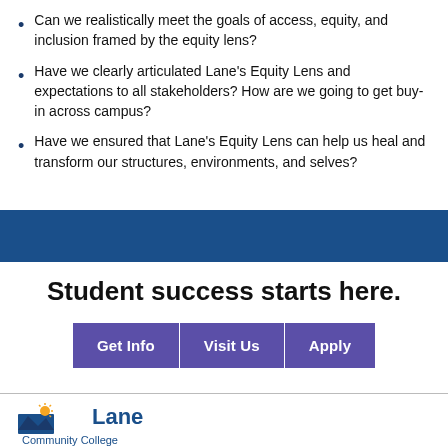Can we realistically meet the goals of access, equity, and inclusion framed by the equity lens?
Have we clearly articulated Lane's Equity Lens and expectations to all stakeholders? How are we going to get buy-in across campus?
Have we ensured that Lane's Equity Lens can help us heal and transform our structures, environments, and selves?
Student success starts here.
Get Info | Visit Us | Apply
[Figure (logo): Lane Community College logo with sun/mountain icon and blue text]